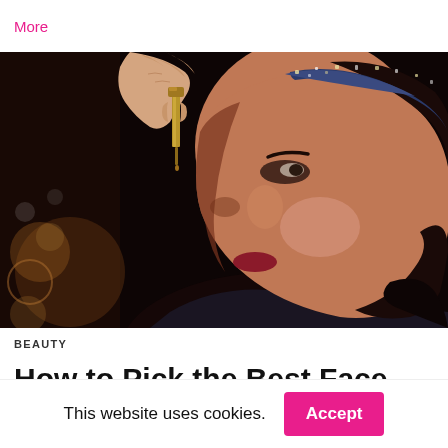More
[Figure (photo): A woman in profile view applying face serum with a dropper to her nose bridge. She wears a blue and white patterned headband. The background is dark.]
BEAUTY
How to Pick the Best Face Serum for Your Skin S...
This website uses cookies.
Accept